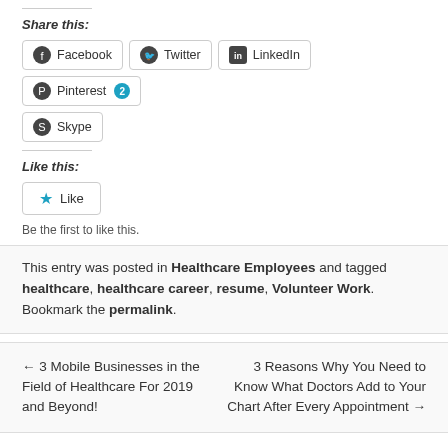Share this:
Facebook  Twitter  LinkedIn  Pinterest 2  Skype
Like this:
Like
Be the first to like this.
This entry was posted in Healthcare Employees and tagged healthcare, healthcare career, resume, Volunteer Work. Bookmark the permalink.
← 3 Mobile Businesses in the Field of Healthcare For 2019 and Beyond!
3 Reasons Why You Need to Know What Doctors Add to Your Chart After Every Appointment →